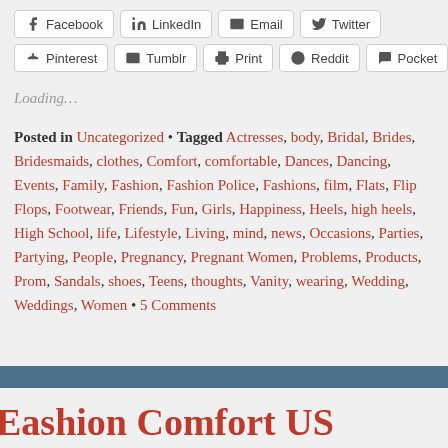Facebook, LinkedIn, Email, Twitter, Pinterest, Tumblr, Print, Reddit, Pocket
Loading…
Posted in Uncategorized • Tagged Actresses, body, Bridal, Brides, Bridesmaids, clothes, Comfort, comfortable, Dances, Dancing, Events, Family, Fashion, Fashion Police, Fashions, film, Flats, Flip Flops, Footwear, Friends, Fun, Girls, Happiness, Heels, high heels, High School, life, Lifestyle, Living, mind, news, Occasions, Parties, Partying, People, Pregnancy, Pregnant Women, Problems, Products, Prom, Sandals, shoes, Teens, thoughts, Vanity, wearing, Wedding, Weddings, Women • 5 Comments